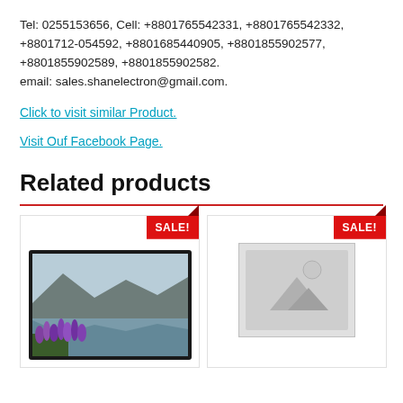Tel: 0255153656, Cell: +8801765542331, +8801765542332, +8801712-054592, +8801685440905, +8801855902577, +8801855902589, +8801855902582.
email: sales.shanelectron@gmail.com.
Click to visit similar Product.
Visit Ouf Facebook Page.
Related products
[Figure (photo): Product image showing landscape with lake, mountains, and purple flowers (appears to be a TV display image). Has a red SALE! badge in the top right corner.]
[Figure (photo): Placeholder product image (no image available placeholder icon). Has a red SALE! badge in the top right corner.]